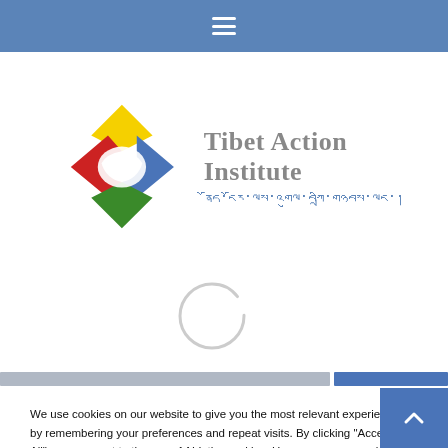≡ (hamburger menu)
[Figure (logo): Tibet Action Institute logo: colorful diamond shapes (red, blue, green, yellow) with white Tibet map silhouette, beside text 'Tibet Action Institute' in gray and Tibetan script in blue]
[Figure (other): Loading spinner / circular progress indicator (light gray circle outline)]
[Figure (other): Horizontal divider with gray bar on left (approx 75%) and blue bar on right (approx 25%)]
We use cookies on our website to give you the most relevant experience by remembering your preferences and repeat visits. By clicking "Accept All", you consent to the use of ALL the cookies. However, you may visit "Cookie Settings" to provide a controlled consent.
Cookie Settings
Accept All